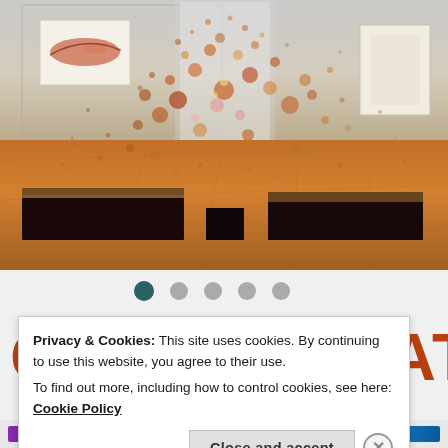[Figure (photo): Gallery interior with art installation showing two large wooden/bronze log-like pedestals on a warm wooden floor, with hundreds of small spherical objects (coins or seeds) dispersed in the air between and above them in an explosion-like pattern. Wall art visible in background.]
[Figure (infographic): Slideshow navigation dots: 5 circles, first one dark teal (active), remaining four light grey (inactive)]
CONFEDERATION
Privacy & Cookies: This site uses cookies. By continuing to use this website, you agree to their use.
To find out more, including how to control cookies, see here: Cookie Policy
Close and accept